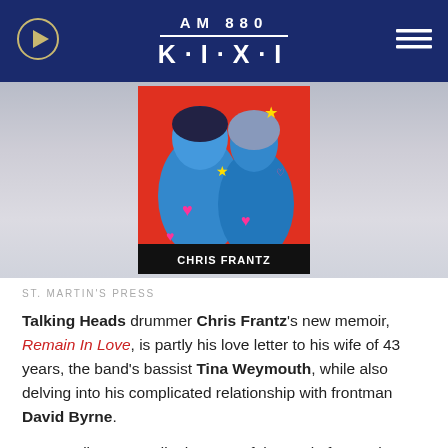AM 880 KIXI
[Figure (photo): Book cover of 'Remain In Love' by Chris Frantz — two young people rendered in blue tones on a red background, with pink hearts and yellow stars, and the author name 'CHRIS FRANTZ' at bottom]
ST. MARTIN'S PRESS
Talking Heads drummer Chris Frantz's new memoir, Remain In Love, is partly his love letter to his wife of 43 years, the band's bassist Tina Weymouth, while also delving into his complicated relationship with frontman David Byrne.
Frantz tells ABC Audio that part of the goal of Remain